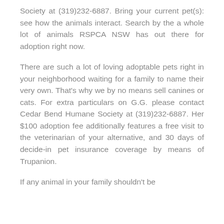Society at (319)232-6887. Bring your current pet(s): see how the animals interact. Search by the a whole lot of animals RSPCA NSW has out there for adoption right now.
There are such a lot of loving adoptable pets right in your neighborhood waiting for a family to name their very own. That's why we by no means sell canines or cats. For extra particulars on G.G. please contact Cedar Bend Humane Society at (319)232-6887. Her $100 adoption fee additionally features a free visit to the veterinarian of your alternative, and 30 days of decide-in pet insurance coverage by means of Trupanion.
If any animal in your family shouldn't be